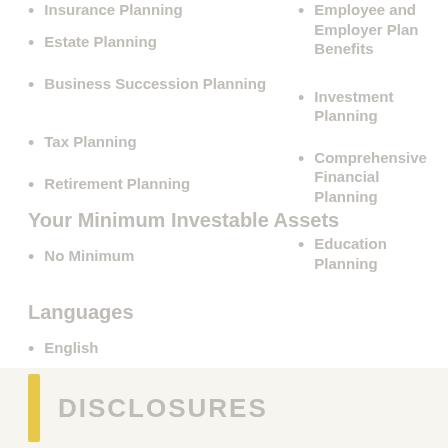Insurance Planning
Estate Planning
Business Succession Planning
Tax Planning
Retirement Planning
Employee and Employer Plan Benefits
Investment Planning
Comprehensive Financial Planning
Education Planning
Your Minimum Investable Assets
No Minimum
Languages
English
DISCLOSURES